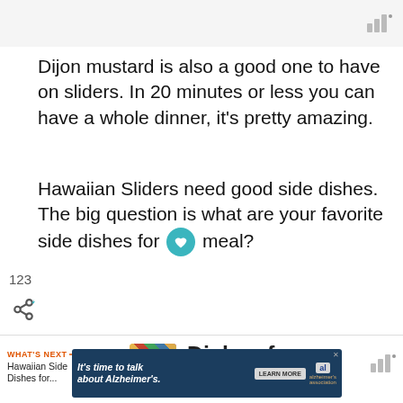Dijon mustard is also a good one to have on sliders. In 20 minutes or less you can have a whole dinner, it’s pretty amazing.
Hawaiian Sliders need good side dishes. The big question is what are your favorite side dishes for meal?
123
[Figure (other): What's Next navigation bar with thumbnail image and headline 'Dishes for Hawaiian']
[Figure (other): Advertisement banner: It’s time to talk about Alzheimer’s. Learn More button and Alzheimer's Association logo.]